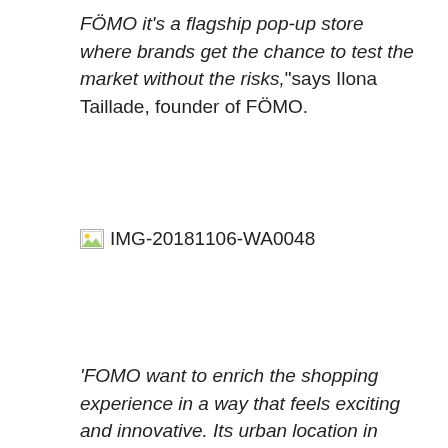FÖMO it's a flagship pop-up store where brands get the chance to test the market without the risks," says Ilona Taillade, founder of FÖMO.
[Figure (photo): Broken/missing image placeholder labeled IMG-20181106-WA0048]
'FOMO want to enrich the shopping experience in a way that feels exciting and innovative. Its urban location in Gothenburg and modern design makes Mölndal Galleria a